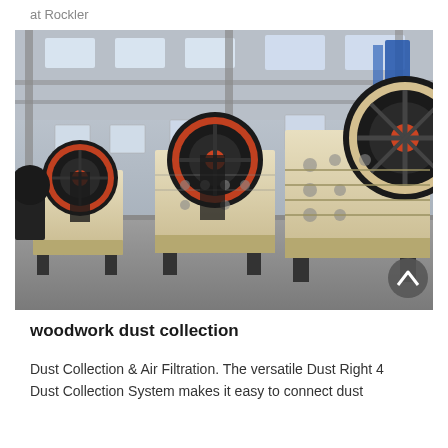at Rockler
[Figure (photo): Industrial jaw crushers in a factory warehouse setting. Three large beige/cream-colored jaw crushing machines with large black and red flywheels arranged in a row on a concrete floor inside a large industrial building with steel framework and skylights.]
woodwork dust collection
Dust Collection & Air Filtration. The versatile Dust Right 4 Dust Collection System makes it easy to connect dust